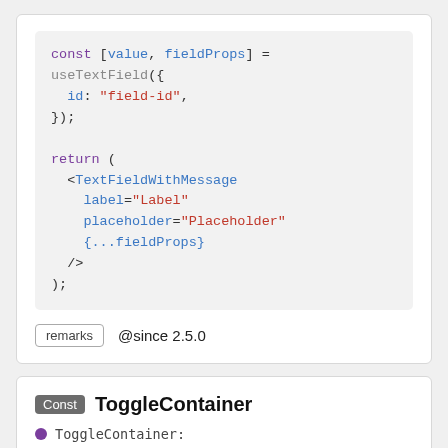[Figure (screenshot): Code block showing JavaScript/JSX code with const destructuring, useTextField hook, and return statement with TextFieldWithMessage JSX component]
remarks   @since 2.5.0
Const ToggleContainer
ToggleContainer: